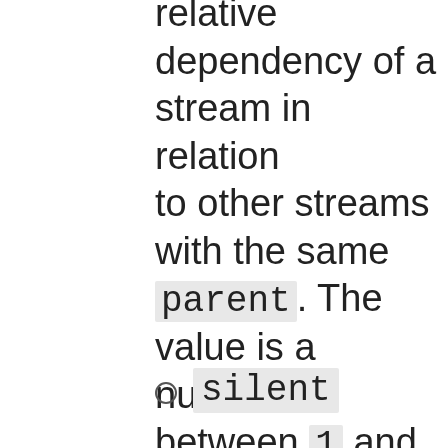relative dependency of a stream in relation to other streams with the same parent. The value is a number between 1 and 256 (inclusive).
silent